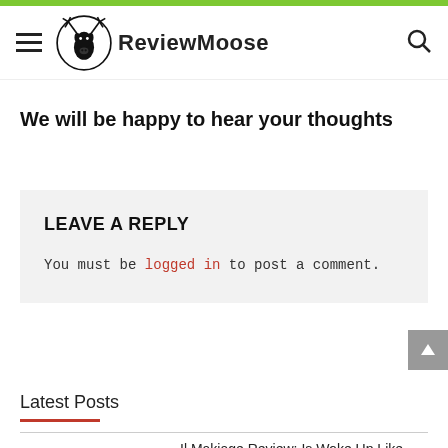ReviewMoose
We will be happy to hear your thoughts
LEAVE A REPLY
You must be logged in to post a comment.
Latest Posts
Il Makiage Review: Is Woke Up Like This Foundation Worth It?